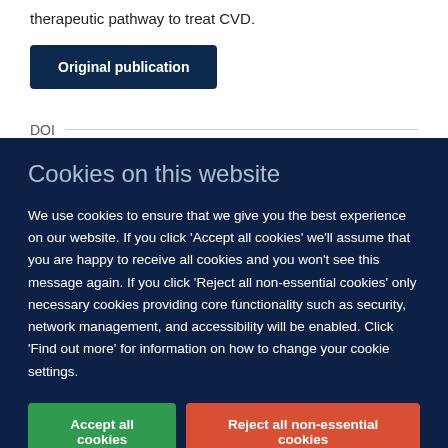therapeutic pathway to treat CVD.
Original publication
DOI
Cookies on this website
We use cookies to ensure that we give you the best experience on our website. If you click 'Accept all cookies' we'll assume that you are happy to receive all cookies and you won't see this message again. If you click 'Reject all non-essential cookies' only necessary cookies providing core functionality such as security, network management, and accessibility will be enabled. Click 'Find out more' for information on how to change your cookie settings.
Accept all cookies
Reject all non-essential cookies